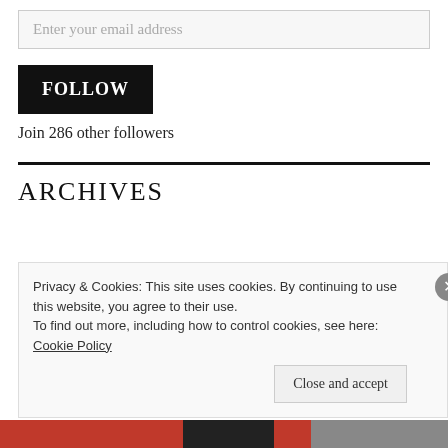Enter your email address
FOLLOW
Join 286 other followers
ARCHIVES
Privacy & Cookies: This site uses cookies. By continuing to use this website, you agree to their use.
To find out more, including how to control cookies, see here: Cookie Policy
Close and accept